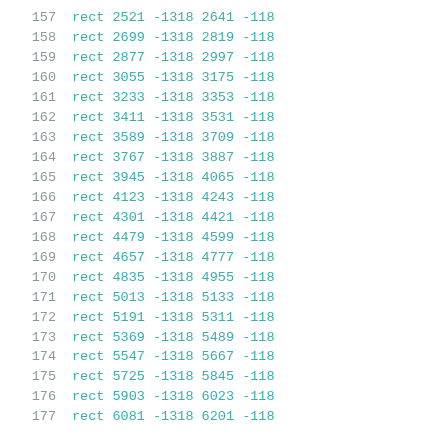157   rect 2521 -1318 2641 -118
158   rect 2699 -1318 2819 -118
159   rect 2877 -1318 2997 -118
160   rect 3055 -1318 3175 -118
161   rect 3233 -1318 3353 -118
162   rect 3411 -1318 3531 -118
163   rect 3589 -1318 3709 -118
164   rect 3767 -1318 3887 -118
165   rect 3945 -1318 4065 -118
166   rect 4123 -1318 4243 -118
167   rect 4301 -1318 4421 -118
168   rect 4479 -1318 4599 -118
169   rect 4657 -1318 4777 -118
170   rect 4835 -1318 4955 -118
171   rect 5013 -1318 5133 -118
172   rect 5191 -1318 5311 -118
173   rect 5369 -1318 5489 -118
174   rect 5547 -1318 5667 -118
175   rect 5725 -1318 5845 -118
176   rect 5903 -1318 6023 -118
177   rect 6081 -1318 6201 -118